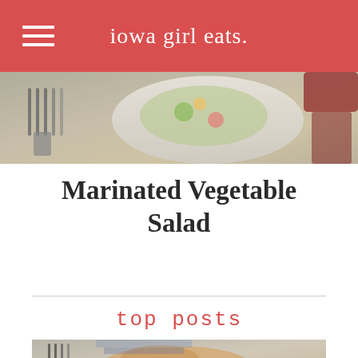iowa girl eats.
[Figure (photo): Close-up food photo showing cutlery, a plate, and what appears to be a marinated vegetable salad on a woven background]
Marinated Vegetable Salad
top posts
[Figure (photo): Close-up food photo showing a fork and food items, partial view at the bottom of the page]